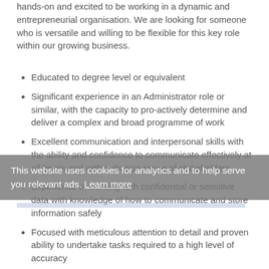hands-on and excited to be working in a dynamic and entrepreneurial organisation. We are looking for someone who is versatile and willing to be flexible for this key role within our growing business.
Educated to degree level or equivalent
Significant experience in an Administrator role or similar, with the capacity to pro-actively determine and deliver a complex and broad programme of work
Excellent communication and interpersonal skills with the ability and confidence to communicate effectively at all levels and with a diverse range of stakeholders
Experience of working with confidential or sensitive data with knowledge of how to communicate and store information safely
Focused with meticulous attention to detail and proven ability to undertake tasks required to a high level of accuracy
Extremely organised with the ability to work